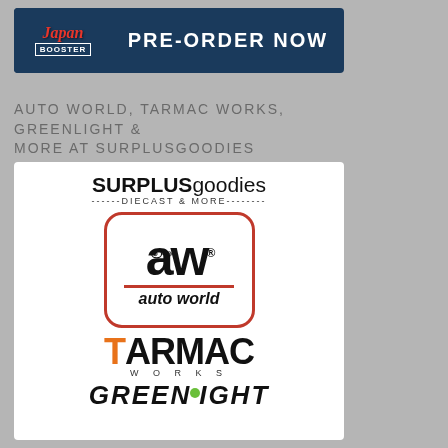[Figure (logo): Japan Booster PRE-ORDER NOW banner with dark blue background]
AUTO WORLD, TARMAC WORKS, GREENLIGHT & MORE AT SURPLUSGOODIES
[Figure (logo): SURPLUSgoodies Diecast & More promotional image featuring Auto World, Tarmac Works, and Greenlight logos on white background]